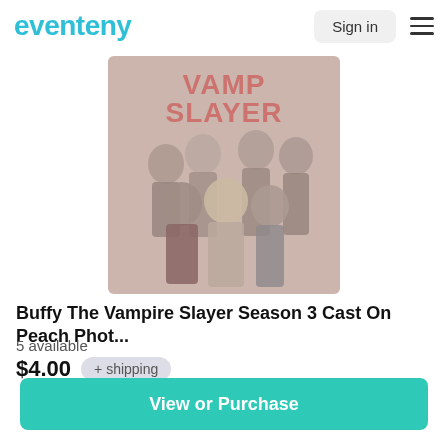eventeny
[Figure (photo): Buffy The Vampire Slayer Season 3 cast promotional photo on peach/light background with red stylized 'Vampire Slayer' text at top]
Buffy The Vampire Slayer Season 3 Cast On Peach Phot...
5 available
$4.00  + shipping